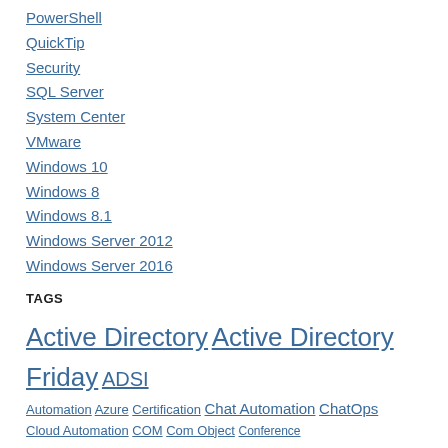PowerShell
QuickTip
Security
SQL Server
System Center
VMware
Windows 10
Windows 8
Windows 8.1
Windows Server 2012
Windows Server 2016
TAGS
Active Directory Active Directory Friday ADSI Automation Azure Certification Chat Automation ChatOps Cloud Automation COM Com Object Conference DirectorySearcher DSC DuPSUG Event Function